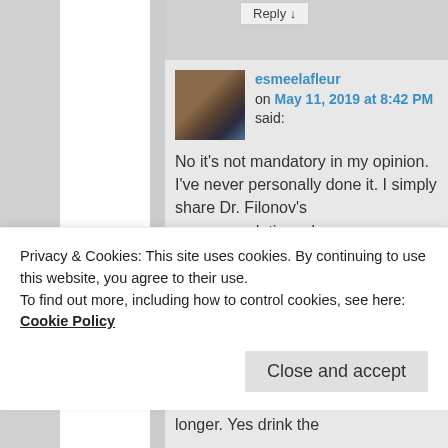Reply ↓
esmeelafleur on May 11, 2019 at 8:42 PM said:
No it's not mandatory in my opinion. I've never personally done it. I simply share Dr. Filonov's recommendations. I
Privacy & Cookies: This site uses cookies. By continuing to use this website, you agree to their use.
To find out more, including how to control cookies, see here: Cookie Policy
Close and accept
longer. Yes drink the